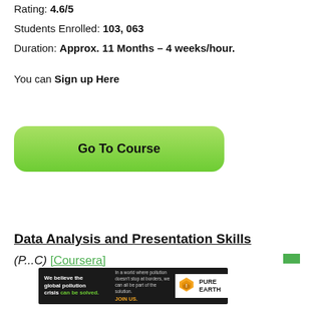Rating: 4.6/5
Students Enrolled: 103, 063
Duration: Approx. 11 Months – 4 weeks/hour.
You can Sign up Here
[Figure (other): Green gradient button labeled 'Go To Course']
Data Analysis and Presentation Skills
(P...C) [Coursera]
[Figure (other): Pure Earth advertisement banner: 'We believe the global pollution crisis can be solved. In a world where pollution doesn't stop at borders, we can all be part of the solution. JOIN US.' with Pure Earth logo.]